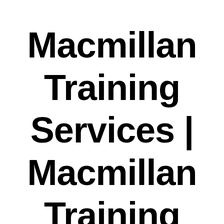Macmillan Training Services | Macmillan Training